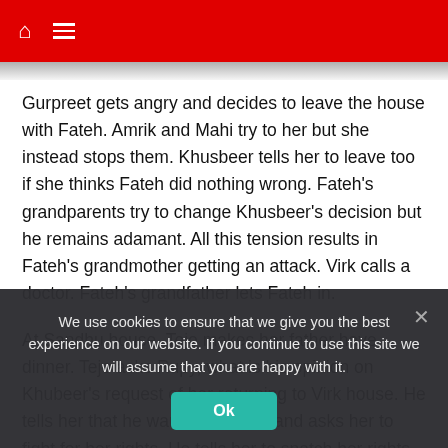Home | Menu
Gurpreet gets angry and decides to leave the house with Fateh. Amrik and Mahi try to her but she instead stops them. Khusbeer tells her to leave too if she thinks Fateh did nothing wrong. Fateh’s grandparents try to change Khusbeer’s decision but he remains adamant. All this tension results in Fateh’s grandmother getting an attack. Virk calls a doctor. Fateh’s grandfather lets Fateh in.
At Sandhu house, Tejo makes her father have dinner. Tejo asks Rupy, what is his opinion on Khubeer’s request of her returning to Virk house. He tells her that he wants the same and asks her to fight for her rights. He tells her to snatch her rights back from Jasmine. Tejo
We use cookies to ensure that we give you the best experience on our website. If you continue to use this site we will assume that you are happy with it.